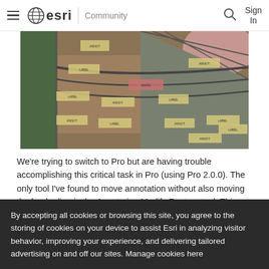esri | Community   Sign In
[Figure (photo): Aerial/satellite view of an industrial or infrastructure area with annotation labels overlaid on the image, showing various features from above.]
We're trying to switch to Pro but are having trouble accomplishing this critical task in Pro (using Pro 2.0.0). The only tool I've found to move annotation without also moving the leader line is the Annotation Modify Feature tool. This works but it can be tedious to move the annotation instead of resizing or text editing by accident since a single click activates all 3 capabilities. Editing also seems even slower than in ArcMap, which I
By accepting all cookies or browsing this site, you agree to the storing of cookies on your device to assist Esri in analyzing visitor behavior, improving your experience, and delivering tailored advertising on and off our sites. Manage cookies here